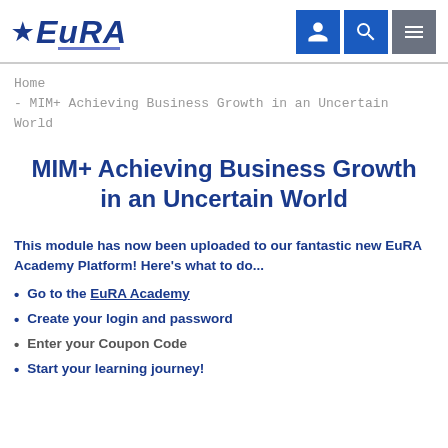EuRA — navigation header with logo and icons
Home
- MIM+ Achieving Business Growth in an Uncertain World
MIM+ Achieving Business Growth in an Uncertain World
This module has now been uploaded to our fantastic new EuRA Academy Platform! Here's what to do...
Go to the EuRA Academy
Create your login and password
Enter your Coupon Code
Start your learning journey!